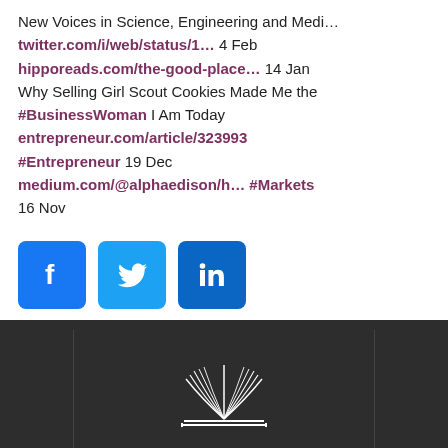New Voices in Science, Engineering and Medi… twitter.com/i/web/status/1… 4 Feb hipporeads.com/the-good-place… 14 Jan Why Selling Girl Scout Cookies Made Me the #BusinessWoman I Am Today entrepreneur.com/article/323993 #Entrepreneur 19 Dec medium.com/@alphaedison/h… #Markets 16 Nov
[Figure (infographic): Three social media icon buttons: Facebook (blue), Twitter (blue), LinkedIn (blue)]
[Figure (logo): Hippo Reads logo — white line drawing of an open book with pages fanning upward, text HIPPO in large spaced caps and READS in smaller spaced caps below, on dark background]